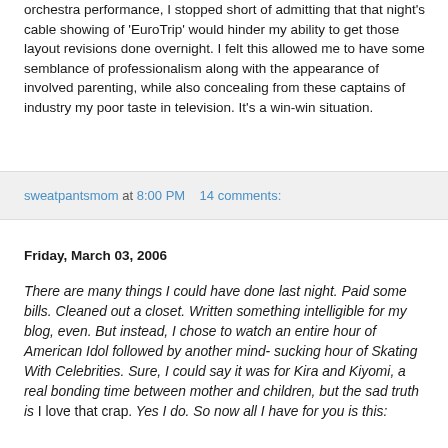orchestra performance, I stopped short of admitting that that night's cable showing of 'EuroTrip' would hinder my ability to get those layout revisions done overnight. I felt this allowed me to have some semblance of professionalism along with the appearance of involved parenting, while also concealing from these captains of industry my poor taste in television. It's a win-win situation.
sweatpantsmom at 8:00 PM    14 comments:
Friday, March 03, 2006
There are many things I could have done last night. Paid some bills. Cleaned out a closet. Written something intelligible for my blog, even. But instead, I chose to watch an entire hour of American Idol followed by another mind-sucking hour of Skating With Celebrities. Sure, I could say it was for Kira and Kiyomi, a real bonding time between mother and children, but the sad truth is I love that crap. Yes I do. So now all I have for you is this: